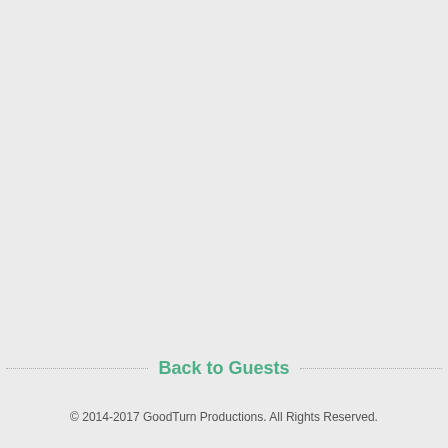Back to Guests
© 2014-2017 GoodTurn Productions. All Rights Reserved.